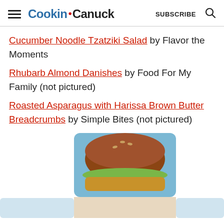Cookin' Canuck  SUBSCRIBE
Cucumber Noodle Tzatziki Salad by Flavor the Moments
Rhubarb Almond Danishes by Food For My Family (not pictured)
Roasted Asparagus with Harissa Brown Butter Breadcrumbs by Simple Bites (not pictured)
[Figure (photo): A burger or sandwich on a blue background, partially visible with bottom thumbnail strips]